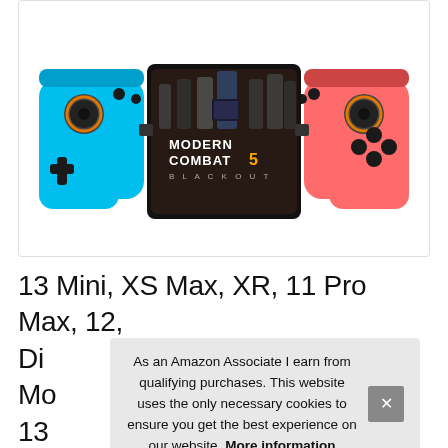[Figure (photo): Product photo of a mobile gaming controller with cyan/blue left side and coral/red right side, with phone mounted showing Modern Combat 5: Blackout game screen with multiple armed characters]
13 Mini, XS Max, XR, 11 Pro Max, 12, Di Mo 13 Controller, 11 Pro, 12 Pro Max, 12 Pro
As an Amazon Associate I earn from qualifying purchases. This website uses the only necessary cookies to ensure you get the best experience on our website. More information